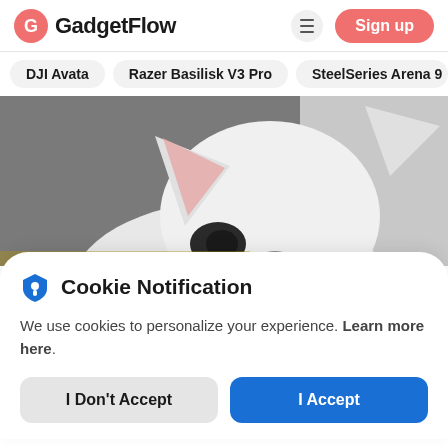GadgetFlow — Sign up
DJI Avata
Razer Basilisk V3 Pro
SteelSeries Arena 9
[Figure (photo): Close-up photo of a white French Bulldog peeking up from below, with dark blurred background]
Cookie Notification
We use cookies to personalize your experience. Learn more here.
I Don't Accept
I Accept